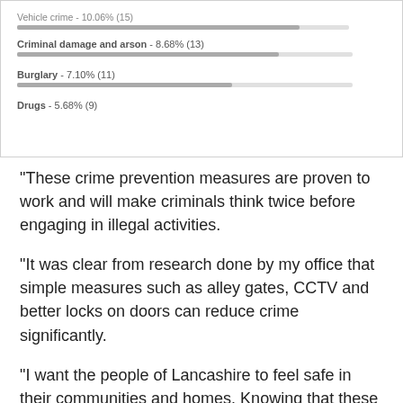[Figure (bar-chart): Crime categories (partial)]
“These crime prevention measures are proven to work and will make criminals think twice before engaging in illegal activities.
“It was clear from research done by my office that simple measures such as alley gates, CCTV and better locks on doors can reduce crime significantly.
“I want the people of Lancashire to feel safe in their communities and homes. Knowing that these prevention measures are in place will go some way to doing that.